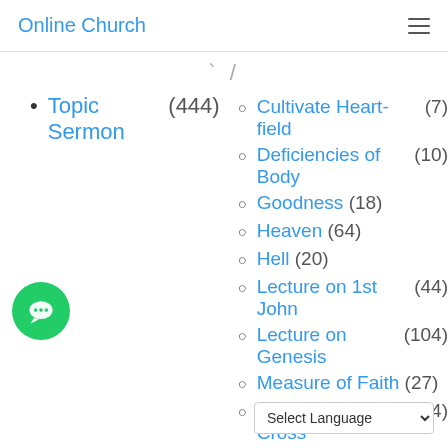Online Church
Topic Sermon (444)
Cultivate Heart-field (7)
Deficiencies of Body (10)
Goodness (18)
Heaven (64)
Hell (20)
Lecture on 1st John (44)
Lecture on Genesis (104)
Measure of Faith (27)
Message of the Cross (24)
Nine Fruit Of Holy Spirit (9)
Seminar (1)
Space and Dimension (7)
Spirit Soul and Body (37)